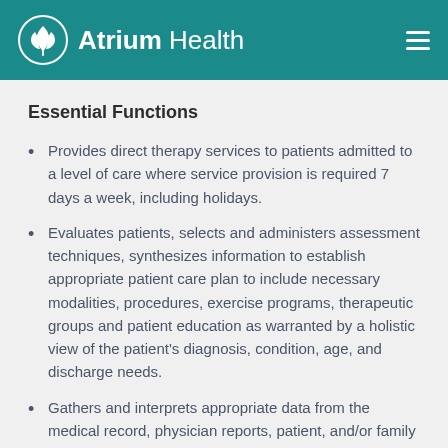Atrium Health
Essential Functions
Provides direct therapy services to patients admitted to a level of care where service provision is required 7 days a week, including holidays.
Evaluates patients, selects and administers assessment techniques, synthesizes information to establish appropriate patient care plan to include necessary modalities, procedures, exercise programs, therapeutic groups and patient education as warranted by a holistic view of the patient's diagnosis, condition, age, and discharge needs.
Gathers and interprets appropriate data from the medical record, physician reports, patient, and/or family